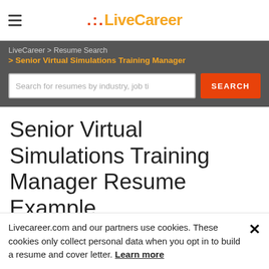LiveCareer
LiveCareer > Resume Search > Senior Virtual Simulations Training Manager
Search for resumes by industry, job ti
Senior Virtual Simulations Training Manager Resume Example
Livecareer.com and our partners use cookies. These cookies only collect personal data when you opt in to build a resume and cover letter. Learn more